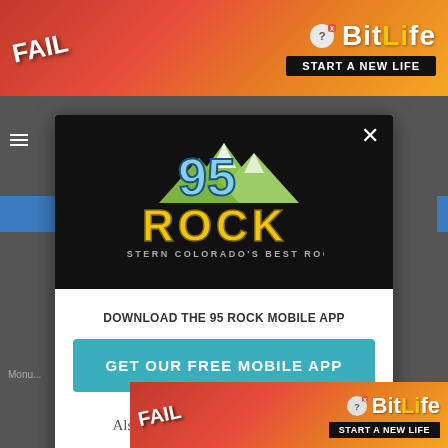[Figure (screenshot): Top advertisement banner for BitLife mobile game with red/orange gradient background, 'FAIL' text and animated character on left, BitLife logo and 'START A NEW LIFE' text on right]
[Figure (screenshot): 95 Rock radio station modal popup overlay with black header showing '95 ROCK - WESTERN COLORADO'S BEST ROCK' logo with mountain graphic, white body section with 'DOWNLOAD THE 95 ROCK MOBILE APP' text, teal 'GET OUR FREE MOBILE APP' button, and 'Also listen on: amazon alexa' with Alexa ring icon]
DOWNLOAD THE 95 ROCK MOBILE APP
GET OUR FREE MOBILE APP
Also listen on:  amazon alexa
[Figure (screenshot): Bottom advertisement banner for BitLife mobile game with red/orange gradient background, 'FAIL' text and animated character on left, BitLife logo and 'START A NEW LIFE' text on right]